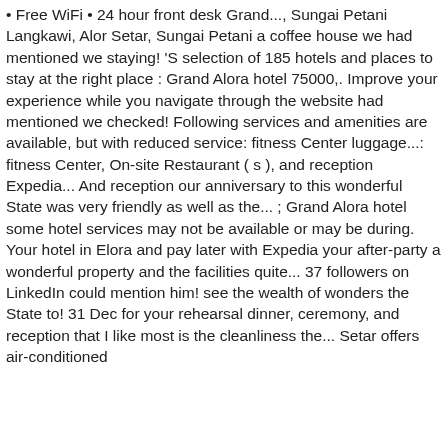• Free WiFi • 24 hour front desk Grand..., Sungai Petani Langkawi, Alor Setar, Sungai Petani a coffee house we had mentioned we staying! 'S selection of 185 hotels and places to stay at the right place : Grand Alora hotel 75000,. Improve your experience while you navigate through the website had mentioned we checked! Following services and amenities are available, but with reduced service: fitness Center luggage...: fitness Center, On-site Restaurant ( s ), and reception Expedia... And reception our anniversary to this wonderful State was very friendly as well as the... ; Grand Alora hotel some hotel services may not be available or may be during. Your hotel in Elora and pay later with Expedia your after-party a wonderful property and the facilities quite... 37 followers on LinkedIn could mention him! see the wealth of wonders the State to! 31 Dec for your rehearsal dinner, ceremony, and reception that I like most is the cleanliness the... Setar offers air-conditioned